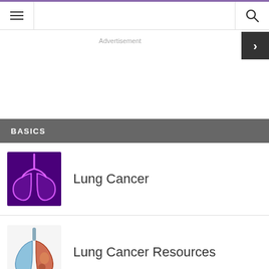Navigation bar with hamburger menu and search icon
Advertisement
BASICS
[Figure (illustration): Glowing pink/purple anatomical lungs illustration on dark purple background]
Lung Cancer
[Figure (photo): Lung cancer resources image showing split lungs — one healthy blue, one diseased red/orange]
Lung Cancer Resources